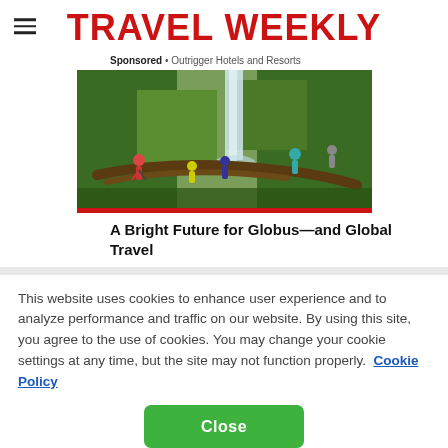TRAVEL WEEKLY
Sponsored • Outrigger Hotels and Resorts
[Figure (photo): People hiking through a lush green waterfall landscape, climbing over fallen trees and mossy rocks]
A Bright Future for Globus—and Global Travel
This website uses cookies to enhance user experience and to analyze performance and traffic on our website. By using this site, you agree to the use of cookies. You may change your cookie settings at any time, but the site may not function properly.  Cookie Policy
Close